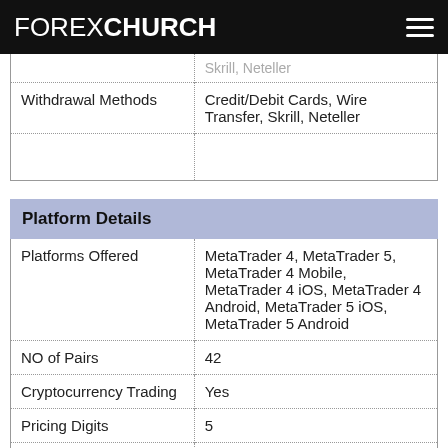FOREXCHURCH
|  |  |
| --- | --- |
|  | Skrill, Neteller |
| Withdrawal Methods | Credit/Debit Cards, Wire Transfer, Skrill, Neteller |
|  |  |
Platform Details
|  |  |
| --- | --- |
| Platforms Offered | MetaTrader 4, MetaTrader 5, MetaTrader 4 Mobile, MetaTrader 4 iOS, MetaTrader 4 Android, MetaTrader 5 iOS, MetaTrader 5 Android |
| NO of Pairs | 42 |
| Cryptocurrency Trading | Yes |
| Pricing Digits | 5 |
| Trade off Charts | Yes |
| One-click Execution | Yes |
| Email Alerts | Yes |